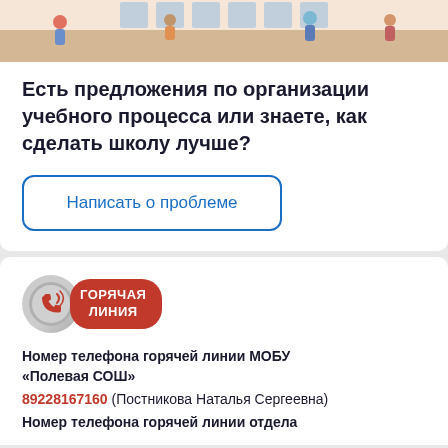[Figure (illustration): Illustration of people/students near school building, cropped at top]
Есть предложения по организации учебного процесса или знаете, как сделать школу лучше?
Написать о проблеме
[Figure (logo): Горячая линия badge — red pill-shaped badge with phone icon and text ГОРЯЧАЯ ЛИНИЯ]
Номер телефона горячей линии МОБУ «Полевая СОШ»
89228167160 (Постникова Наталья Сергеевна)
Номер телефона горячей линии отдела